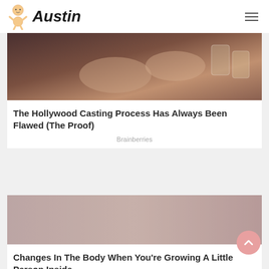Austin
[Figure (photo): Dark close-up photo showing hands or body parts with jars in background]
The Hollywood Casting Process Has Always Been Flawed (The Proof)
Brainberries
[Figure (photo): Partially visible image, mostly obscured/blank area]
Changes In The Body When You’re Growing A Little Person Inside
Herbeauty